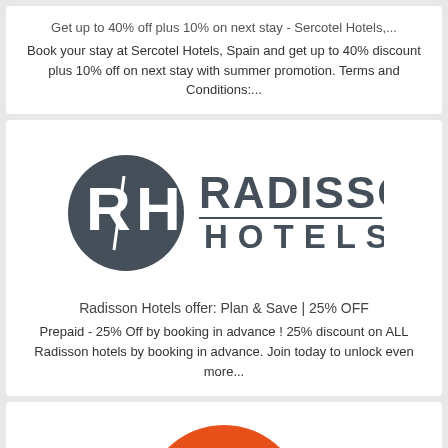Get up to 40% off plus 10% on next stay - Sercotel Hotels,...
Book your stay at Sercotel Hotels, Spain and get up to 40% discount plus 10% off on next stay with summer promotion. Terms and Conditions:...
[Figure (logo): Radisson Hotels logo — dark grey circle with stylized R·H monogram on left, bold text RADISSON with HOTELS below separated by horizontal line]
Radisson Hotels offer: Plan & Save | 25% OFF
Prepaid - 25% Off by booking in advance ! 25% discount on ALL Radisson hotels by booking in advance. Join today to unlock even more...
[Figure (logo): Orange circular logo with stylized R·H monogram (partially visible, cropped at bottom)]